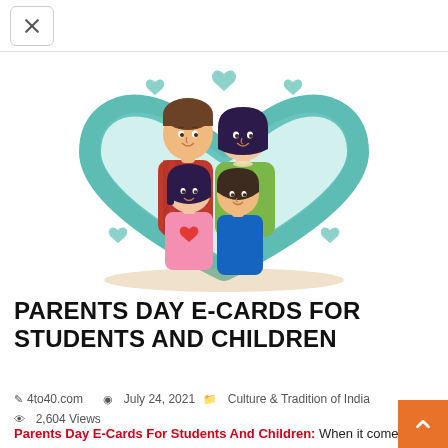✕ (close button)
[Figure (illustration): Cartoon illustration of a family of four — father, mother, daughter, and son — inside a large teal/mint heart shape with smaller hearts around them. The parents stand behind the children, all smiling. Background is white.]
PARENTS DAY E-CARDS FOR STUDENTS AND CHILDREN
4to40.com   July 24, 2021   Culture & Tradition of India   2,604 Views
Parents Day E-Cards For Students And Children: When it comes to